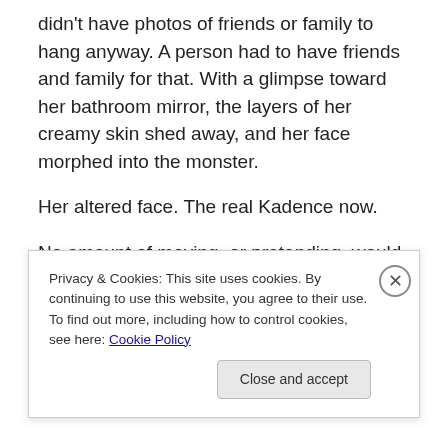didn't have photos of friends or family to hang anyway. A person had to have friends and family for that. With a glimpse toward her bathroom mirror, the layers of her creamy skin shed away, and her face morphed into the monster.
Her altered face. The real Kadence now.
No amount of moving, or pretending, would ever change it.
“Kade!”
Privacy & Cookies: This site uses cookies. By continuing to use this website, you agree to their use.
To find out more, including how to control cookies, see here: Cookie Policy